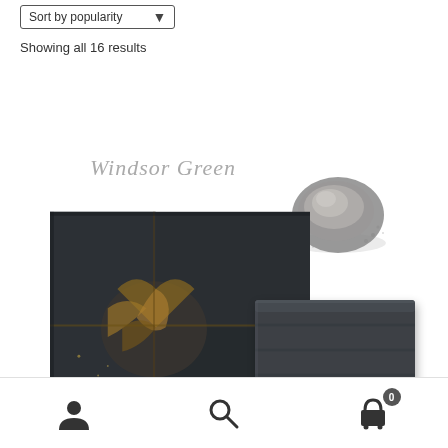Sort by popularity
Showing all 16 results
[Figure (photo): Product photo for Windsor Green Milk Paint showing an ornate dark picture frame corner with gold detailing, a pile of grey-green pigment powder, and a dark grey paint chip/swatch. Handwritten text reads 'Windsor Green' and label reads 'Milk Paint'.]
User icon, Search icon, Cart icon with badge showing 0